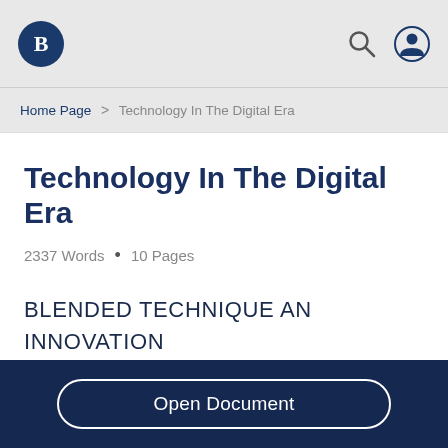Bartleby navigation bar with logo, search, and user icons
Home Page > Technology In The Digital Era
Technology In The Digital Era
2337 Words  •  10 Pages
BLENDED TECHNIQUE AN INNOVATION OVER CONVENTIONAL    METHOD IN
Open Document